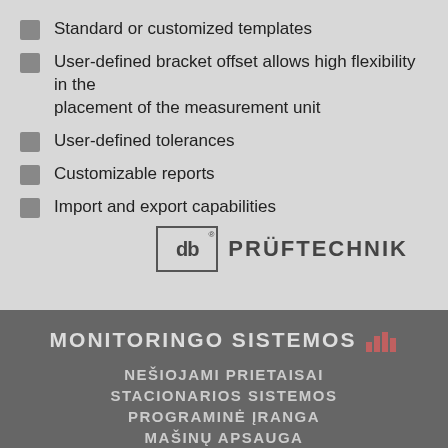Standard or customized templates
User-defined bracket offset allows high flexibility in the placement of the measurement unit
User-defined tolerances
Customizable reports
Import and export capabilities
[Figure (logo): PRÜFTECHNIK logo with stylized 'db' letters in a rectangular box]
MONITORINGO SISTEMOS
NEŠIOJAMI PRIETAISAI
STACIONARIOS SISTEMOS
PROGRAMINĖ ĮRANGA
MAŠINŲ APSAUGA